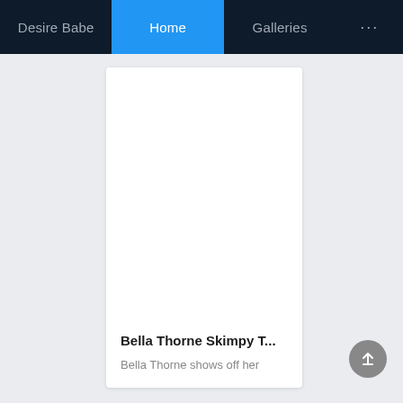Desire Babe | Home | Galleries | ...
[Figure (screenshot): White card image placeholder area]
Bella Thorne Skimpy T...
Bella Thorne shows off her